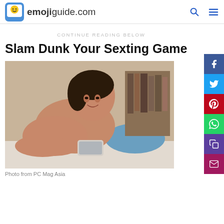emojiguide.com
CONTINUE READING BELOW
Slam Dunk Your Sexting Game
[Figure (photo): Shirtless man lying on bed smiling at his smartphone]
Photo from PC Mag Asia